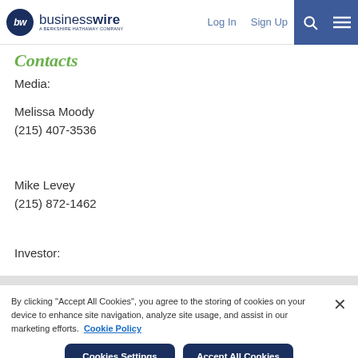businesswire – A Berkshire Hathaway Company | Log In | Sign Up
Contacts
Media:
Melissa Moody
(215) 407-3536
Mike Levey
(215) 872-1462
Investor:
By clicking "Accept All Cookies", you agree to the storing of cookies on your device to enhance site navigation, analyze site usage, and assist in our marketing efforts. Cookie Policy
Cookies Settings | Accept All Cookies